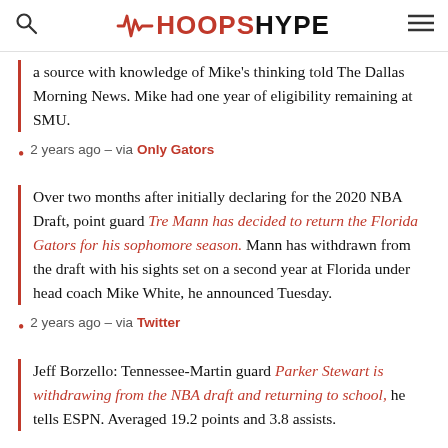HoopsHype
a source with knowledge of Mike's thinking told The Dallas Morning News. Mike had one year of eligibility remaining at SMU.
2 years ago – via Only Gators
Over two months after initially declaring for the 2020 NBA Draft, point guard Tre Mann has decided to return the Florida Gators for his sophomore season. Mann has withdrawn from the draft with his sights set on a second year at Florida under head coach Mike White, he announced Tuesday.
2 years ago – via Twitter
Jeff Borzello: Tennessee-Martin guard Parker Stewart is withdrawing from the NBA draft and returning to school, he tells ESPN. Averaged 19.2 points and 3.8 assists.